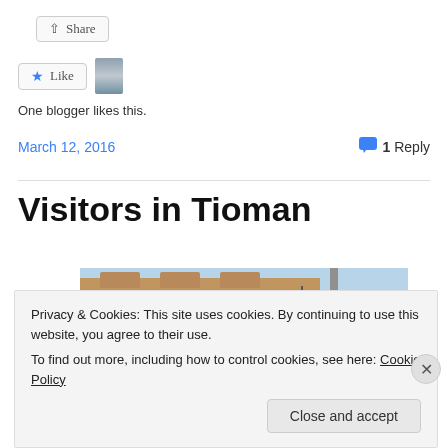[Figure (other): Share button UI element with share icon]
[Figure (other): Like button with star icon and blogger avatar thumbnail]
One blogger likes this.
March 12, 2016    1 Reply
Visitors in Tioman
[Figure (photo): Partial photo of a building with ornate facade and a red circular sign/lamp, with blue sky background]
Privacy & Cookies: This site uses cookies. By continuing to use this website, you agree to their use.
To find out more, including how to control cookies, see here: Cookie Policy